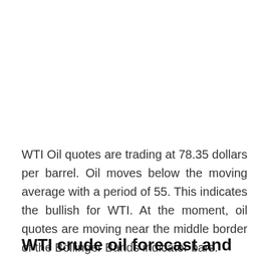WTI Oil quotes are trading at 78.35 dollars per barrel. Oil moves below the moving average with a period of 55. This indicates the bullish for WTI. At the moment, oil quotes are moving near the middle border of the Bollinger Bands indicator bars.
WTI crude oil forecast and